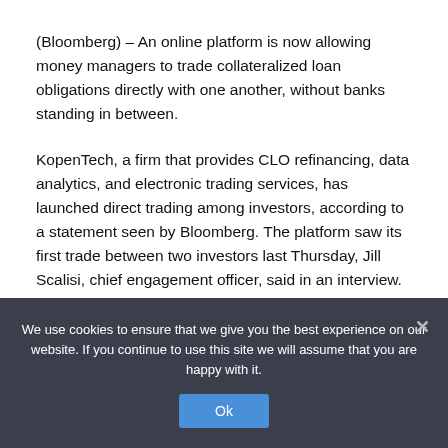(Bloomberg) – An online platform is now allowing money managers to trade collateralized loan obligations directly with one another, without banks standing in between.
KopenTech, a firm that provides CLO refinancing, data analytics, and electronic trading services, has launched direct trading among investors, according to a statement seen by Bloomberg. The platform saw its first trade between two investors last Thursday, Jill Scalisi, chief engagement officer, said in an interview.
The nearly $1 trillion CLO market has long been controlled...
We use cookies to ensure that we give you the best experience on our website. If you continue to use this site we will assume that you are happy with it.